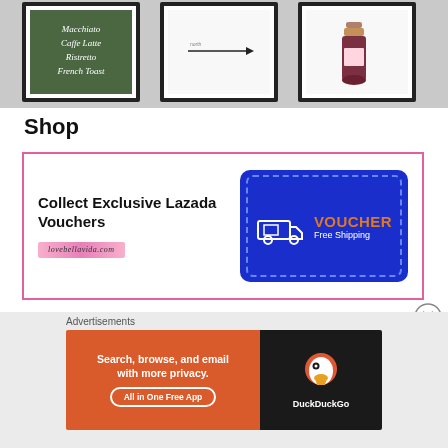[Figure (photo): Three framed art prints on a white brick wall: a green print with menu text (Macchiato, Caffe Latte, Ristretto, French Toast), a white print with an arrow, and a white print with a champagne bottle.]
Shop
[Figure (infographic): Advertisement banner with pink border: 'Collect Exclusive Lazada Vouchers' text on left with lovebellavida.com URL, and blue voucher graphic with truck icon and 'VOUCHER Free Shipping' text on right.]
[Figure (screenshot): Close button (X in circle) overlay.]
Advertisements
[Figure (screenshot): DuckDuckGo advertisement: orange left panel with 'Search, browse, and email with more privacy. All in One Free App' and DuckDuckGo logo on dark right panel.]